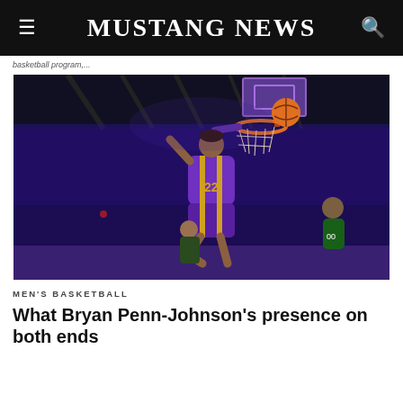MUSTANG NEWS
basketball program,...
[Figure (photo): A basketball player wearing a purple and gold jersey number 22 dunking the ball through the hoop. The player is airborne mid-dunk in an arena. Other players visible below including an opponent in a green/white jersey.]
MEN'S BASKETBALL
What Bryan Penn-Johnson's presence on both ends